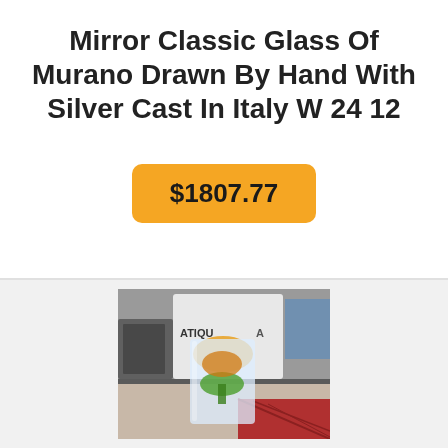Mirror Classic Glass Of Murano Drawn By Hand With Silver Cast In Italy W 24 12
$1807.77
[Figure (photo): Photo of a glass item (appears to be a decorative glass or cup) placed on a surface, with store/shop background visible. Partial text 'ATIQU' visible on packaging behind.]